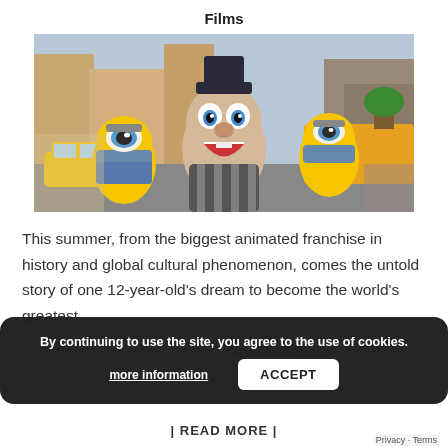Films
[Figure (illustration): Animated scene from Minions: The Rise of Gru showing young Gru with wide open mouth expression surrounded by Minions in a city street setting]
This summer, from the biggest animated franchise in history and global cultural phenomenon, comes the untold story of one 12-year-old's dream to become the world's greatest supervillain, in Minions: The Rise of Gru https://www.youtube.com/watch?v=u1V0mWMMTbQ In the heart of the 1970s,
By continuing to use the site, you agree to the use of cookies.
more information
ACCEPT
| READ MORE |
Privacy - Terms